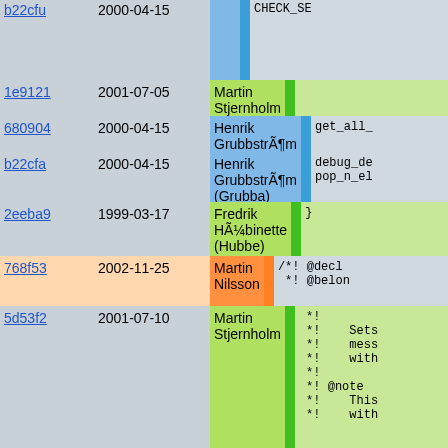| hash | date | author | bar | code |
| --- | --- | --- | --- | --- |
| b22cfu | 2000-04-15 | Henrik GrubbstrÃ¶m (Grubba) |  | CHECK_SE |
| 1e9121 | 2001-07-05 | Martin Stjernholm |  |  |
| 680904 | 2000-04-15 | Henrik GrubbstrÃ¶m (Grubba) |  | get_all_ |
| b22cfa | 2000-04-15 | Henrik GrubbstrÃ¶m (Grubba) |  | debug_de
pop_n_el |
| 2eeba9 | 1999-03-17 | Fredrik HÃ¼binette (Hubbe) |  | } |
| 768f53 | 2002-11-25 | Martin Nilsson |  | /*! @decl
 *! @belon |
| 5d53f2 | 2001-07-10 | Martin Stjernholm |  |  *!
 *!    Sets
 *!    mess
 *!    with
 *!
 *! @note
 *!    This
 *!    with |
| 1e9121 | 2001-07-05 | Martin Stjernholm |  |  */
PMOD_EXPOR
{
  CHECK_SE

  if (args
    SIMPLE
  if(Pike |